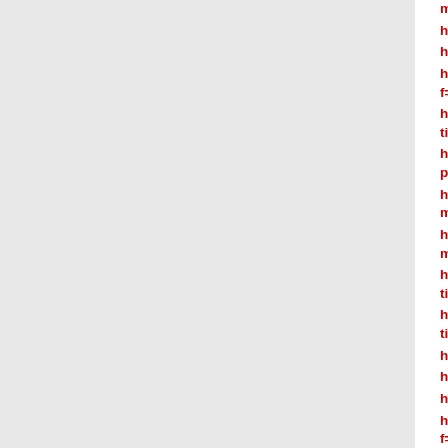mod=viewthread&tid=100783&pid=868046...
http://vilia.it/index.php/forum/welcome-mat/4...
http://labor-economics.org/forum/viewtopic...
https://www.forum.xflnewsroom.com/viewto... f=2&t=173483&p=275782#p2...
http://forum.2serveothers.com/showthread.p... tid=447530&pid=1093356#pid1...
https://pa2010.cdms.westernsydney.edu.au/... php?...
http://veikkauspiste.com/forum/vedonlyonti-mtm-20...
http://calvarychapeljoco.com/new/index.php... mat/738897-2021...
https://forum.afilbv.ro/showthread.php?tid=369348&pid=418953#pid418953
https://forum.afilbv.ro/showthread.php?tid=369348&pid=418953#pid418953
http://ciphertalks.com/viewtopic.php?f=13&t...
http://ciphertalks.com/viewtopic.php?f=13&t...
https://test.club-irbis.ru/viewtopic.php?pid=...
http://rcpbmn.com/phpBB2/viewtopic.php?f=2&t=1216212&sid=b7572ab74d6e2a6...
https://kamdanlife.network/forums/index.ph...